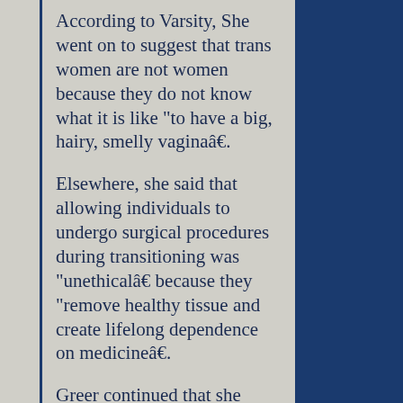According to Varsity, She went on to suggest that trans women are not women because they do not know what it is like "to have a big, hairy, smelly vaginaâ€.
Elsewhere, she said that allowing individuals to undergo surgical procedures during transitioning was "unethicalâ€ because they "remove healthy tissue and create lifelong dependence on medicineâ€.
Greer continued that she hoped there would be more opportunities for people to exist within their own orientations and sexualities in the future without reliance on medical assistance.
"To invite Germaine Greer back to speak in Cambridge condones her transmisogynyâ€ CUSU LGBT+ said